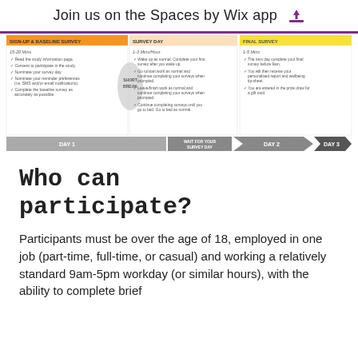Join us on the Spaces by Wix app
[Figure (infographic): Three-column study timeline infographic showing Day 1 (Sign-up & Baseline Survey, 15-20 mins), WAIT FOR YOUR SURVEY DAY with SHORT BREAK, Day 2 (Survey Day, 1-3 Mins/Hour), and Day 3 (Final Survey, 1-5 Mins). Each column has checklist items. Bottom shows a timeline arrow with DAY 1, DAY 2, DAY 3.]
Who can participate?
Participants must be over the age of 18, employed in one job (part-time, full-time, or casual) and working a relatively standard 9am-5pm workday (or similar hours), with the ability to complete brief